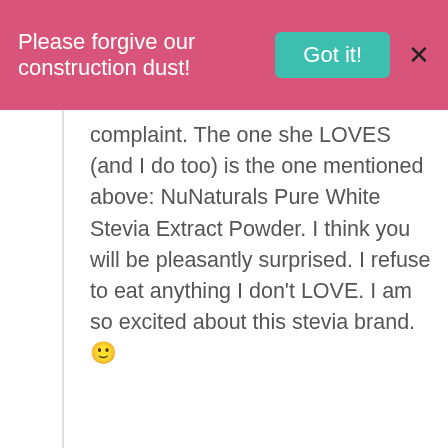Please forgive our construction dust! Got it! X
complaint. The one she LOVES (and I do too) is the one mentioned above: NuNaturals Pure White Stevia Extract Powder. I think you will be pleasantly surprised. I refuse to eat anything I don't LOVE. I am so excited about this stevia brand. 🙂
Reply
Hannah
January 18, 2013 at 7:50 AM